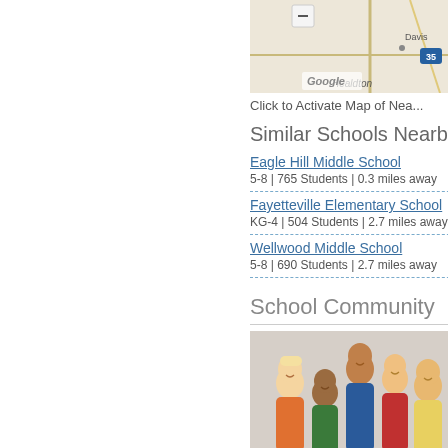[Figure (map): Google Maps screenshot showing local area with road 35, Healdton label, Davis label, and a minus zoom button visible]
Click to Activate Map of Nea...
Similar Schools Nearby
Eagle Hill Middle School
5-8 | 765 Students | 0.3 miles away
Fayetteville Elementary School
KG-4 | 504 Students | 2.7 miles away
Wellwood Middle School
5-8 | 690 Students | 2.7 miles away
School Community
[Figure (photo): Group photo of diverse middle/high school students smiling]